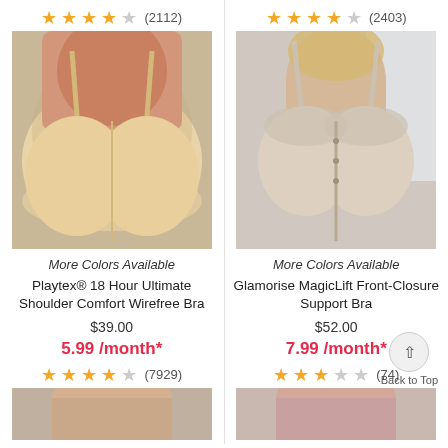[Figure (screenshot): E-commerce product listing page showing two bra products side by side with star ratings, product images, names, prices, and monthly payment options]
★★★★☆ (2112)
★★★★☆ (2403)
[Figure (photo): Woman wearing Playtex 18 Hour Ultimate Shoulder Comfort Wirefree Bra in beige/nude color]
[Figure (photo): Woman wearing Glamorise MagicLift Front-Closure Support Bra in beige/nude color]
More Colors Available
More Colors Available
Playtex® 18 Hour Ultimate Shoulder Comfort Wirefree Bra
Glamorise MagicLift Front-Closure Support Bra
$39.00
$52.00
5.99 /month*
7.99 /month*
★★★★☆ (7929)
★★★★☆ (74)
Back to Top